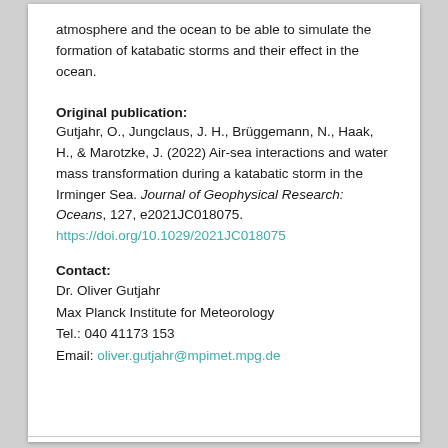atmosphere and the ocean to be able to simulate the formation of katabatic storms and their effect in the ocean.
Original publication:
Gutjahr, O., Jungclaus, J. H., Brüggemann, N., Haak, H., & Marotzke, J. (2022) Air-sea interactions and water mass transformation during a katabatic storm in the Irminger Sea. Journal of Geophysical Research: Oceans, 127, e2021JC018075. https://doi.org/10.1029/2021JC018075
Contact:
Dr. Oliver Gutjahr
Max Planck Institute for Meteorology
Tel.: 040 41173 153
Email: oliver.gutjahr@mpimet.mpg.de